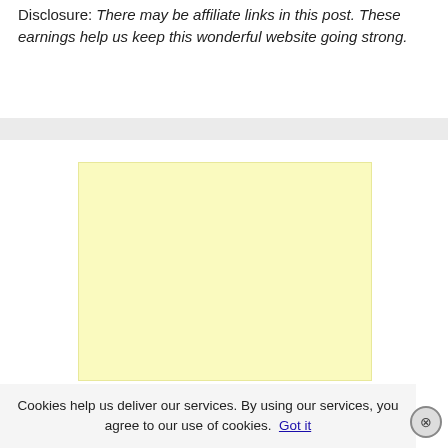Disclosure: There may be affiliate links in this post. These earnings help us keep this wonderful website going strong.
[Figure (other): Light yellow advertisement placeholder box]
Cookies help us deliver our services. By using our services, you agree to our use of cookies. Got it